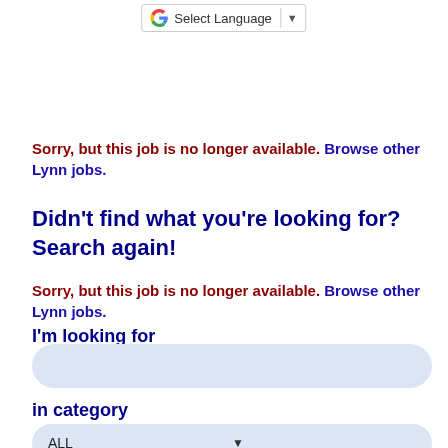[Figure (screenshot): Google Translate 'Select Language' dropdown button with Google G logo]
Sorry, but this job is no longer available. Browse other Lynn jobs.
Didn't find what you're looking for? Search again!
Sorry, but this job is no longer available. Browse other Lynn jobs.
I'm looking for
[Figure (screenshot): Search input field with rounded corners and light blue background]
in category
[Figure (screenshot): ALL dropdown selector with rounded corners and light blue background]